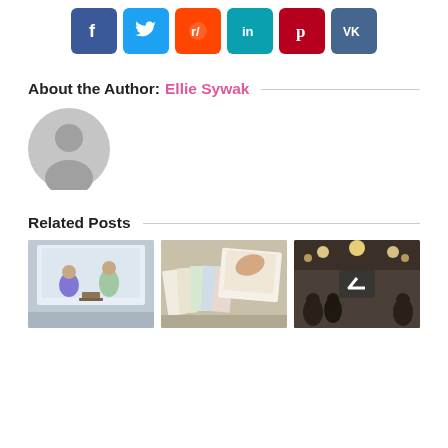[Figure (infographic): Social media share buttons: Facebook (blue), Twitter (light blue), Reddit (orange), LinkedIn (teal), Pinterest (red/crimson), VK (dark blue)]
About the Author: Ellie Sywak
[Figure (photo): Default user avatar — gray circle with silhouette of a person]
Related Posts
[Figure (photo): Three related post thumbnail images: (1) Two people seated in front of a branded backdrop, (2) Color swatches and design materials on a table, (3) Interior restaurant/event venue scene with audience and chandelier lighting, with a back-to-top arrow button overlay]